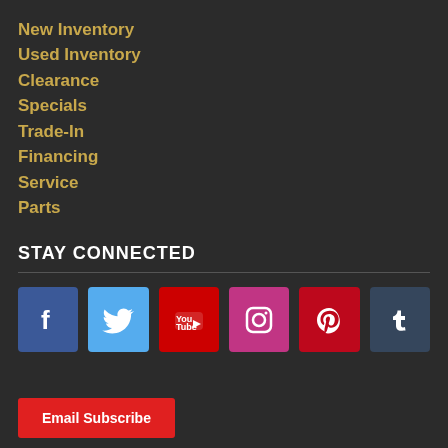New Inventory
Used Inventory
Clearance
Specials
Trade-In
Financing
Service
Parts
STAY CONNECTED
[Figure (infographic): Six social media icon buttons: Facebook (blue), Twitter (light blue), YouTube (red), Instagram (pink/magenta), Pinterest (red), Tumblr (dark blue-grey)]
Email Subscribe